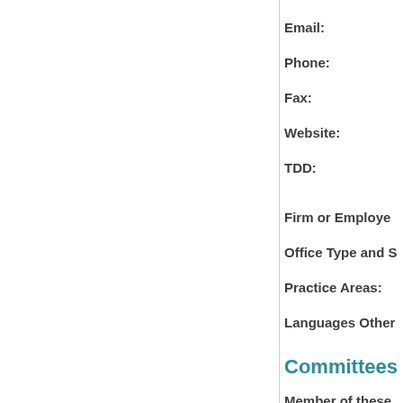Email:
Phone:
Fax:
Website:
TDD:
Firm or Employe
Office Type and S
Practice Areas:
Languages Other
Committees
Member of these
Hearing Officer Pa